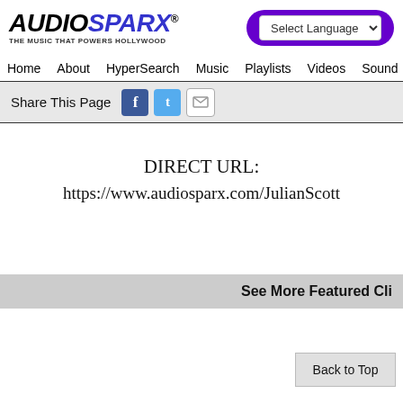[Figure (logo): AudioSparx logo with text AUDIO SPARX and tagline THE MUSIC THAT POWERS HOLLYWOOD]
[Figure (screenshot): Select Language dropdown and purple header bar element]
Home   About   HyperSearch   Music   Playlists   Videos   Sound
Share This Page
DIRECT URL:
https://www.audiosparx.com/JulianScott
See More Featured Cli
Back to Top